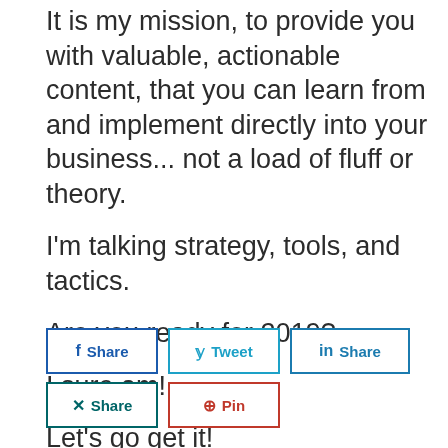It is my mission, to provide you with valuable, actionable content, that you can learn from and implement directly into your business... not a load of fluff or theory.
I'm talking strategy, tools, and tactics.
Are you ready for 2019?
I sure am!
Let's go get it!
[Figure (other): Social media share buttons: Facebook Share, Twitter Tweet, LinkedIn Share (top row); Xing Share, Pinterest Pin (bottom row)]